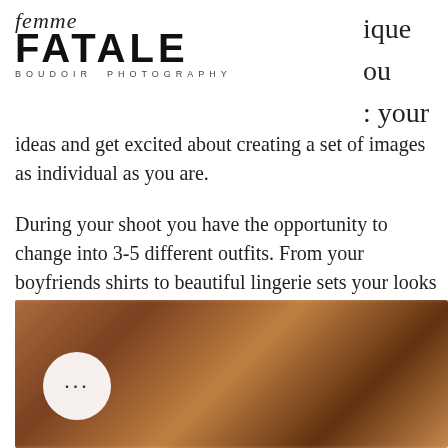[Figure (logo): Femme Fatale Boudoir Photography logo — cursive 'femme' above bold sans-serif 'FATALE', with 'BOUDOIR PHOTOGRAPHY' in small spaced caps below]
ique
ou
: your
ideas and get excited about creating a set of images as individual as you are.
During your shoot you have the opportunity to change into 3-5 different outfits. From your boyfriends shirts to beautiful lingerie sets your looks can be as tame or as wild as you like. Think outside the box, you can draw inspiration from almost anywhere...
[Figure (photo): Blurred warm-toned photograph of a boudoir-style scene with orange and brown tones, with a circular button overlay showing three dots (ellipsis) in the lower left]